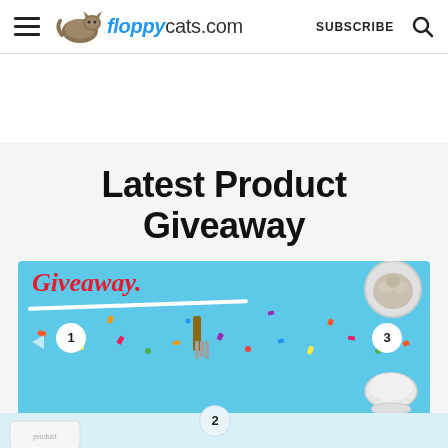floppycats.com  SUBSCRIBE
Latest Product Giveaway
[Figure (photo): Giveaway promotional banner with blue background showing the word 'Giveaway.' in red script with a white underline, numbered circles (1, 2, 3), confetti, a cat image top right, grooming comb, and a bowl/food dish. Below the banner continues with more product items on a lighter blue background.]